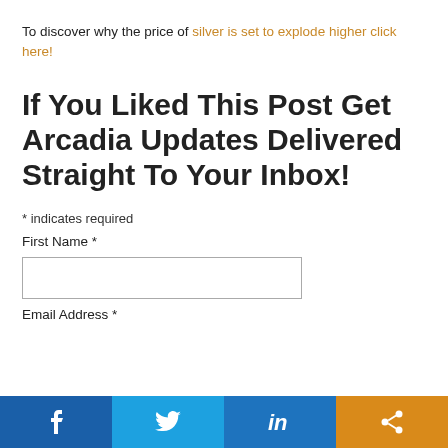To discover why the price of silver is set to explode higher click here!
If You Liked This Post Get Arcadia Updates Delivered Straight To Your Inbox!
* indicates required
First Name *
Email Address *
[Figure (other): Social media sharing bar with Facebook, Twitter, LinkedIn, and share buttons]